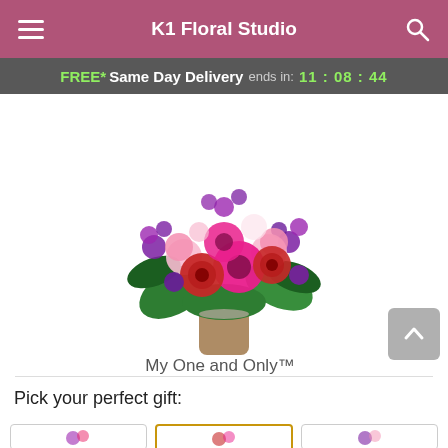K1 Floral Studio
FREE* Same Day Delivery ends in: 11:08:44
[Figure (photo): Floral arrangement called My One and Only™ featuring red roses, hot pink gerbera daisies, pink carnations, and purple flowers in a glass vase]
My One and Only™
Pick your perfect gift: